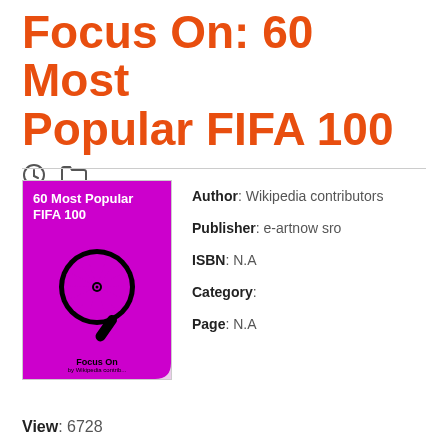Focus On: 60 Most Popular FIFA 100
[Figure (illustration): Book cover thumbnail for '60 Most Popular FIFA 100' with a purple background, a black magnifying glass graphic, white title text, and a page-curl effect in the bottom right.]
Author: Wikipedia contributors
Publisher: e-artnow sro
ISBN: N.A
Category:
Page: N.A
View: 6728